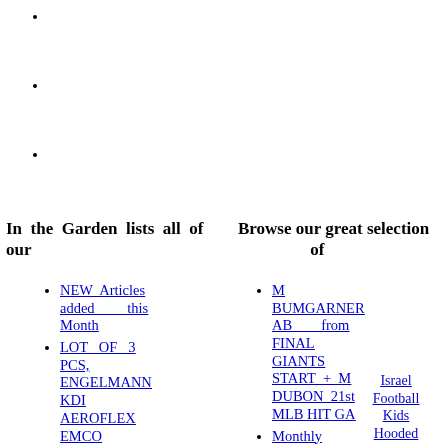In the Garden lists all of our
Browse our great selection of
NEW Articles added this Month
LOT OF 3 PCS, ENGELMANN KDI AEROFLEX EMCO CL2040-20 RF COUPLER
"What to do" in the Garden this Month
M BUMGARNER AB from FINAL GIANTS START + M DUBON 21st MLB HIT GA
Monthly Gardening Handbooks
Weekly in the Garden
2007
Israel Football Kids Hooded